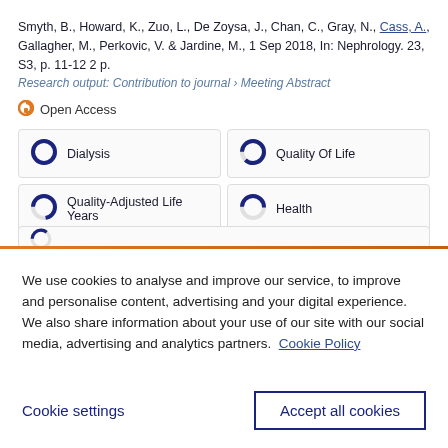Smyth, B., Howard, K., Zuo, L., De Zoysa, J., Chan, C., Gray, N., Cass, A., Gallagher, M., Perkovic, V. & Jardine, M., 1 Sep 2018, In: Nephrology. 23, S3, p. 11-12 2 p.
Research output: Contribution to journal › Meeting Abstract
Open Access
Dialysis
Quality Of Life
Quality-Adjusted Life Years
Health
We use cookies to analyse and improve our service, to improve and personalise content, advertising and your digital experience. We also share information about your use of our site with our social media, advertising and analytics partners.  Cookie Policy
Cookie settings
Accept all cookies